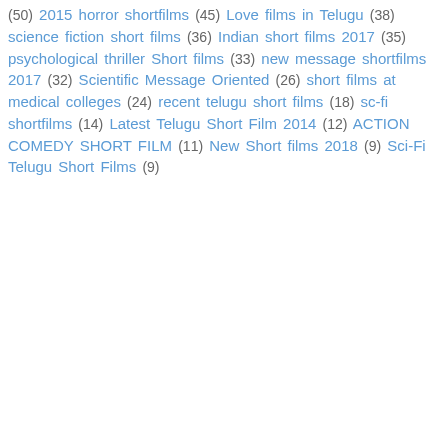(50) 2015 horror shortfilms (45) Love films in Telugu (38) science fiction short films (36) Indian short films 2017 (35) psychological thriller Short films (33) new message shortfilms 2017 (32) Scientific Message Oriented (26) short films at medical colleges (24) recent telugu short films (18) sc-fi shortfilms (14) Latest Telugu Short Film 2014 (12) ACTION COMEDY SHORT FILM (11) New Short films 2018 (9) Sci-Fi Telugu Short Films (9)